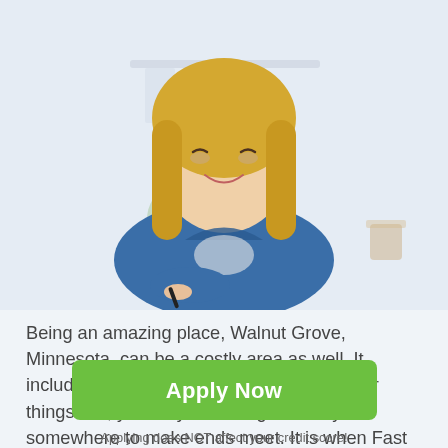[Figure (photo): A smiling blonde woman in a blue denim shirt sitting at a desk, holding a pen, with shelves and a plant in the background. Light blue/grey background.]
Being an amazing place, Walnut Grove, Minnesota, can be a costly area as well. It includes rent, taxes, medical bills, and other things. So, you may need to get money somewhere to make ends meet. It is when Fast Payday Loans may be the only way out. Such emergency and unexpected situations can even occur if you have a stable income.
[Figure (other): A grey rounded square button with an upward-pointing white arrow, used as a scroll-to-top button.]
Payday loans in Walnut Grove, Minnesota, are convenient and easy to receive…. Payday instead of traditional …. In the article, you will find more information about different…
[Figure (other): Green 'Apply Now' button with white bold text.]
Applying does NOT affect your credit score!
No credit check to apply.